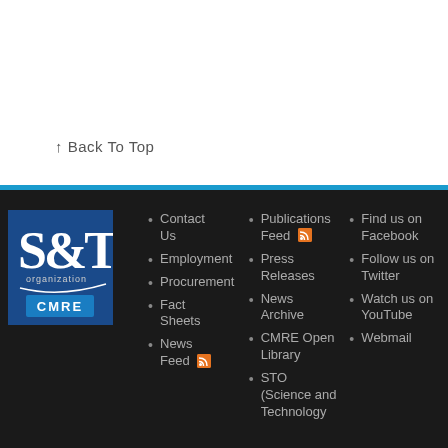↑ Back To Top
[Figure (logo): S&T organization CMRE logo — blue square with white S&T text, 'organization' label, and CMRE badge]
Contact Us
Employment
Procurement
Fact Sheets
News Feed (RSS)
Publications Feed (RSS)
Press Releases
News Archive
CMRE Open Library
STO (Science and Technology
Find us on Facebook
Follow us on Twitter
Watch us on YouTube
Webmail